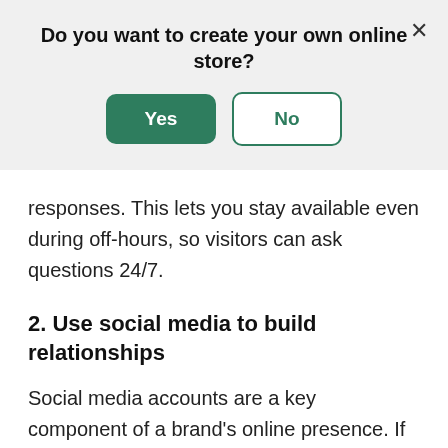[Figure (screenshot): Modal dialog with title 'Do you want to create your own online store?' and two buttons: 'Yes' (green filled) and 'No' (green outline), with an X close button in the top right corner.]
responses. This lets you stay available even during off-hours, so visitors can ask questions 24/7.
2. Use social media to build relationships
Social media accounts are a key component of a brand's online presence. If your website visitors didn't discover you on Instagram, it's likely they'll check out your brand's social profiles at some point in their